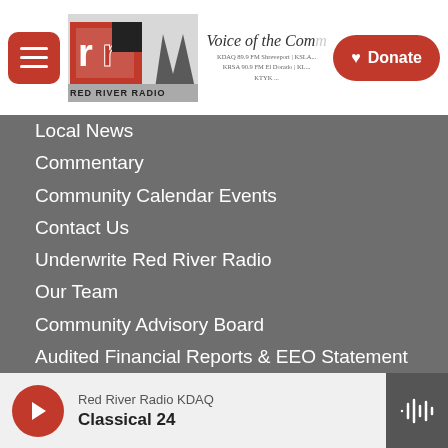Red River Radio — Voice of the Community header with hamburger menu, logo, station info, and Donate button
Local News
Commentary
Community Calendar Events
Contact Us
Underwrite Red River Radio
Our Team
Community Advisory Board
Audited Financial Reports & EEO Statement
Red River Radio KDAQ — Classical 24 (player bar)